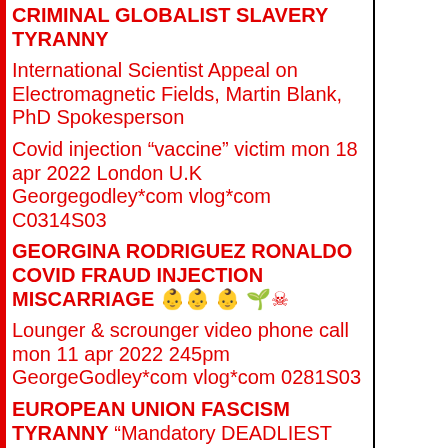CRIMINAL GLOBALIST SLAVERY TYRANNY
International Scientist Appeal on Electromagnetic Fields, Martin Blank, PhD Spokesperson
Covid injection “vaccine” victim mon 18 apr 2022 London U.K Georgegodley*com vlog*com C0314S03
GEORGINA RODRIGUEZ RONALDO COVID FRAUD INJECTION MISCARRIAGE 👶👶👶🌱☠
Lounger & scrounger video phone call mon 11 apr 2022 245pm GeorgeGodley*com vlog*com 0281S03
EUROPEAN UNION FASCISM TYRANNY “Mandatory DEADLIEST injection for EU jist want